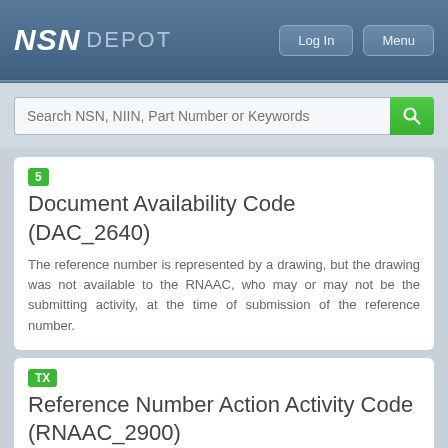NSN DEPOT  Log In  Menu
Search NSN, NIIN, Part Number or Keywords
5  Document Availability Code (DAC_2640)
The reference number is represented by a drawing, but the drawing was not available to the RNAAC, who may or may not be the submitting activity, at the time of submission of the reference number.
TX  Reference Number Action Activity Code (RNAAC_2900)